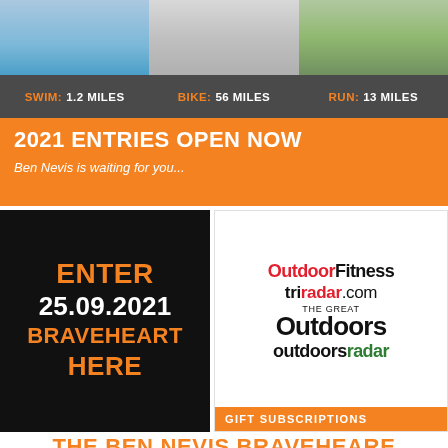[Figure (infographic): Three-column triathlon distance banner showing swimming, biking, and running photos with distance labels: SWIM: 1.2 MILES, BIKE: 56 MILES, RUN: 13 MILES]
2021 ENTRIES OPEN NOW
Ben Nevis is waiting for you...
[Figure (infographic): Black panel with orange and white text reading ENTER 25.09.2021 BRAVEHEART HERE]
[Figure (logo): Magazine logos panel showing OutdoorFitness, triradar.com, The Great Outdoors, outdoors radar, with GIFT SUBSCRIPTIONS banner at bottom]